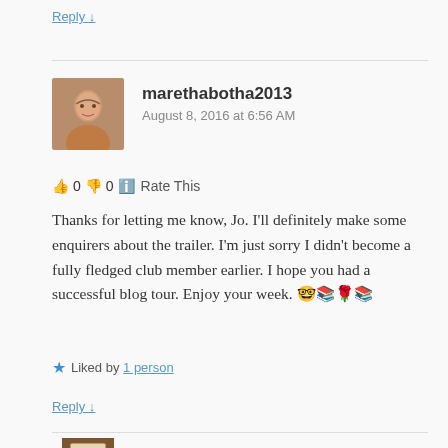Reply ↓
marethabotha2013
August 8, 2016 at 6:56 AM
👍 0 👎 0 ℹ Rate This
Thanks for letting me know, Jo. I'll definitely make some enquirers about the trailer. I'm just sorry I didn't become a fully fledged club member earlier. I hope you had a successful blog tour. Enjoy your week. 🤓📚🌹📚
★ Liked by 1 person
Reply ↓
jinlobify  Post author